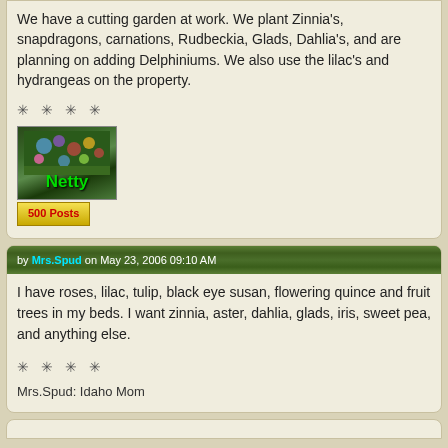We have a cutting garden at work. We plant Zinnia's, snapdragons, carnations, Rudbeckia, Glads, Dahlia's, and are planning on adding Delphiniums. We also use the lilac's and hydrangeas on the property.
* * * *
[Figure (photo): Avatar image of user Netty showing a garden with colorful flowers, with green text 'Netty' overlaid]
500 Posts
by Mrs.Spud on May 23, 2006 09:10 AM
I have roses, lilac, tulip, black eye susan, flowering quince and fruit trees in my beds. I want zinnia, aster, dahlia, glads, iris, sweet pea, and anything else.
* * * *
Mrs.Spud: Idaho Mom